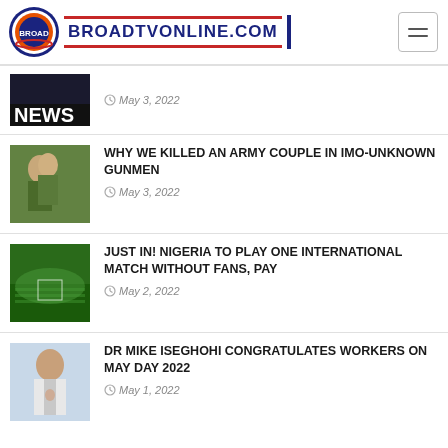BROADTVONLINE.COM
May 3, 2022
WHY WE KILLED AN ARMY COUPLE IN IMO-UNKNOWN GUNMEN
May 3, 2022
JUST IN! NIGERIA TO PLAY ONE INTERNATIONAL MATCH WITHOUT FANS, PAY
May 2, 2022
DR MIKE ISEGHOHI CONGRATULATES WORKERS ON MAY DAY 2022
May 1, 2022